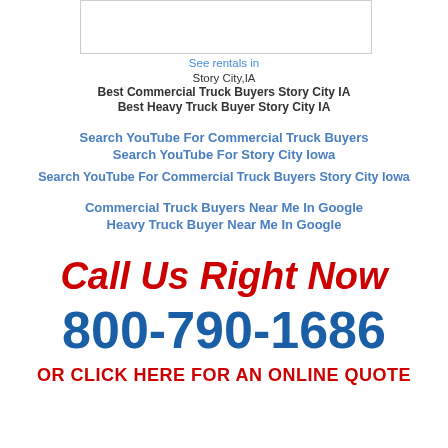[Figure (other): Empty white box with border, likely placeholder for image]
See rentals in
Story City,IA
Best Commercial Truck Buyers Story City IA
Best Heavy Truck Buyer Story City IA
Search YouTube For Commercial Truck Buyers
Search YouTube For Story City Iowa
Search YouTube For Commercial Truck Buyers Story City Iowa
Commercial Truck Buyers Near Me In Google
Heavy Truck Buyer Near Me In Google
Call Us Right Now
800-790-1686
OR CLICK HERE FOR AN ONLINE QUOTE